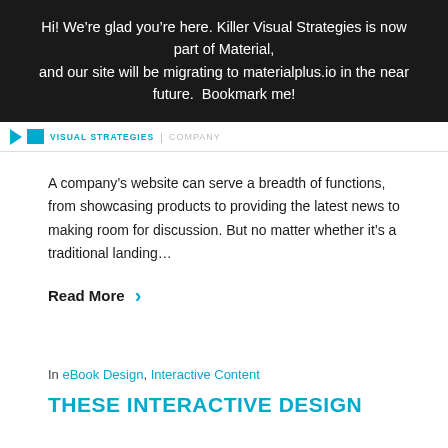Hi! We're glad you're here. Killer Visual Strategies is now part of Material, and our site will be migrating to materialplus.io in the near future.  Bookmark me!
VISUAL STRATEGIES | COMPANY
A company's website can serve a breadth of functions, from showcasing products to providing the latest news to making room for discussion. But no matter whether it's a traditional landing...
Read More >
In eBook Design, Interactive Content
THESE INTERACTIVE DESIGN